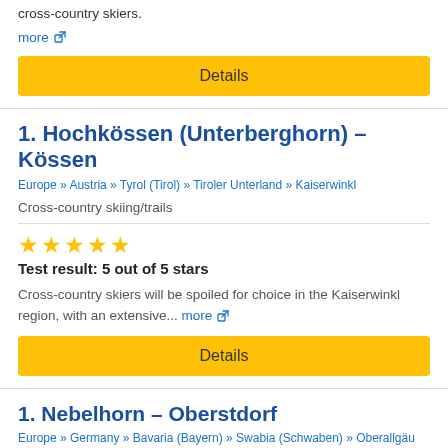cross-country skiers.
more
Details
1. Hochkössen (Unterberghorn) – Kössen
Europe » Austria » Tyrol (Tirol) » Tiroler Unterland » Kaiserwinkl
Cross-country skiing/trails
Test result: 5 out of 5 stars
Cross-country skiers will be spoiled for choice in the Kaiserwinkl region, with an extensive... more
Details
1. Nebelhorn – Oberstdorf
Europe » Germany » Bavaria (Bayern) » Swabia (Schwaben) » Oberallgäu